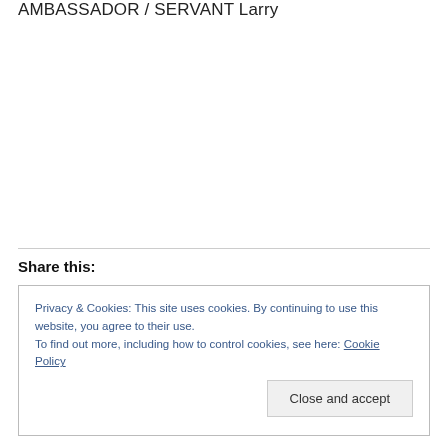AMBASSADOR / SERVANT Larry
Share this:
Privacy & Cookies: This site uses cookies. By continuing to use this website, you agree to their use.
To find out more, including how to control cookies, see here: Cookie Policy